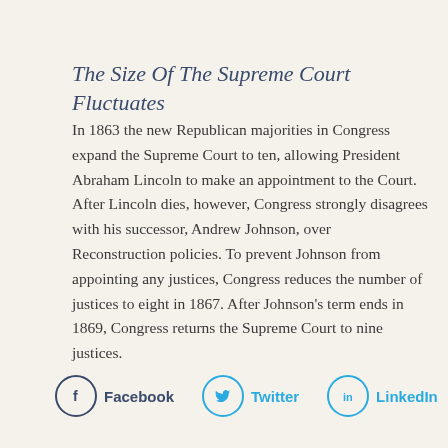The Size Of The Supreme Court Fluctuates
In 1863 the new Republican majorities in Congress expand the Supreme Court to ten, allowing President Abraham Lincoln to make an appointment to the Court. After Lincoln dies, however, Congress strongly disagrees with his successor, Andrew Johnson, over Reconstruction policies. To prevent Johnson from appointing any justices, Congress reduces the number of justices to eight in 1867. After Johnson's term ends in 1869, Congress returns the Supreme Court to nine justices.